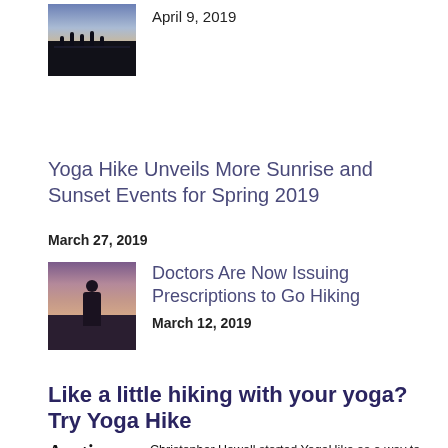[Figure (photo): Silhouettes of people at sunrise/sunset against a colorful sky]
April 9, 2019
Yoga Hike Unveils More Sunrise and Sunset Events for Spring 2019
March 27, 2019
[Figure (photo): Person standing on rocks with dramatic cloudy sky at sunset]
Doctors Are Now Issuing Prescriptions to Go Hiking
March 12, 2019
Like a little hiking with your yoga? Try Yoga Hike
[Figure (logo): Austin American logo text]
Christopher Howell started YogaHike as a way to combine two of his favorite things — yoga and hiking. He leads a YogaHike nearly every weekend at